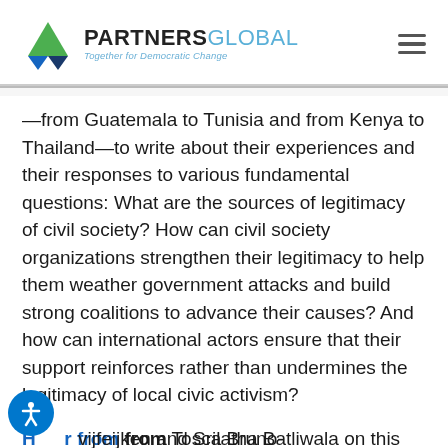PARTNERS GLOBAL — Together for Democratic Change
—from Guatemala to Tunisia and from Kenya to Thailand—to write about their experiences and their responses to various fundamental questions: What are the sources of legitimacy of civil society? How can civil society organizations strengthen their legitimacy to help them weather government attacks and build strong coalitions to advance their causes? And how can international actors ensure that their support reinforces rather than undermines the legitimacy of local civic activism?
Hear from Tosca Bruno-Vijfeijken and Srilatha Batliwala on this NGO Soul + Strategy Podcast talking about Politics